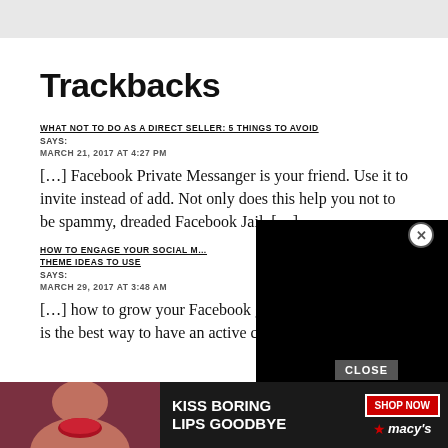Trackbacks
WHAT NOT TO DO AS A DIRECT SELLER: 5 THINGS TO AVOID SAYS:
MARCH 21, 2017 AT 4:27 PM
[…] Facebook Private Messanger is your friend. Use it to invite instead of add. Not only does this help you not to be spammy, dreaded Facebook Jail. […]
HOW TO ENGAGE YOUR SOCIAL M… THEME IDEAS TO USE SAYS:
MARCH 29, 2017 AT 3:48 AM
[…] how to grow your Facebook group organically. This is the best way to have an active community and… […]
[Figure (other): Black video player overlay covering part of the page content]
[Figure (other): Macy's advertisement banner at the bottom: KISS BORING LIPS GOODBYE with SHOP NOW button and Macy's star logo]